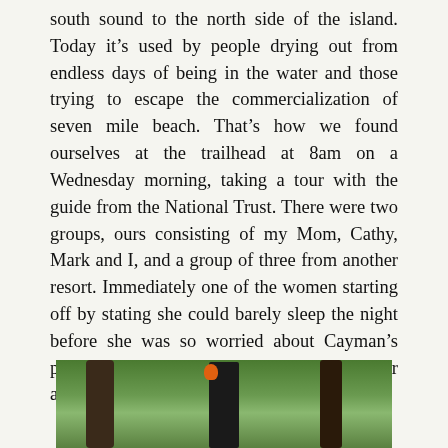south sound to the north side of the island. Today it’s used by people drying out from endless days of being in the water and those trying to escape the commercialization of seven mile beach. That’s how we found ourselves at the trailhead at 8am on a Wednesday morning, taking a tour with the guide from the National Trust. There were two groups, ours consisting of my Mom, Cathy, Mark and I, and a group of three from another resort. Immediately one of the women starting off by stating she could barely sleep the night before she was so worried about Cayman’s poison ivy like plant. We knew we were in for an interesting walk.
[Figure (photo): Photo of a forest scene with dark tree trunks and green foliage, person visible between trees with orange accent visible]